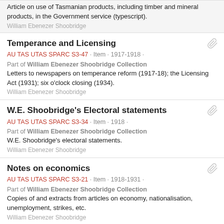Article on use of Tasmanian products, including timber and mineral products, in the Government service (typescript).
William Ebenezer Shoobridge
Temperance and Licensing
AU TAS UTAS SPARC S3-47 · Item · 1917-1918 ·
Part of William Ebenezer Shoobridge Collection
Letters to newspapers on temperance reform (1917-18); the Licensing Act (1931); six o'clock closing (1934).
William Ebenezer Shoobridge
W.E. Shoobridge's Electoral statements
AU TAS UTAS SPARC S3-34 · Item · 1918 ·
Part of William Ebenezer Shoobridge Collection
W.E. Shoobridge's electoral statements.
William Ebenezer Shoobridge
Notes on economics
AU TAS UTAS SPARC S3-21 · Item · 1918-1931 ·
Part of William Ebenezer Shoobridge Collection
Copies of and extracts from articles on economy, nationalisation, unemployment, strikes, etc.
William Ebenezer Shoobridge